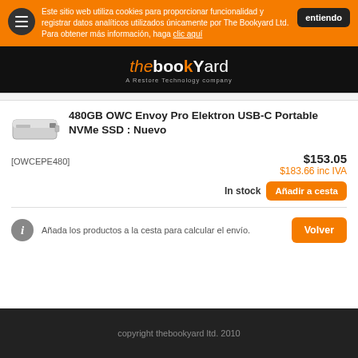Este sitio web utiliza cookies para proporcionar funcionalidad y registrar datos analíticos utilizados únicamente por The Bookyard Ltd.
Para obtener más información, haga clic aquí
[Figure (logo): The Bookyard logo - 'the' in orange italic, 'book' in white bold, 'Yard' with orange K, subtitle 'A Restore Technology company']
480GB OWC Envoy Pro Elektron USB-C Portable NVMe SSD : Nuevo
[OWCEPE480]
$153.05
$183.66 inc IVA
In stock
Añadir a cesta
Añada los productos a la cesta para calcular el envío.
Volver
copyright thebookyard ltd. 2010